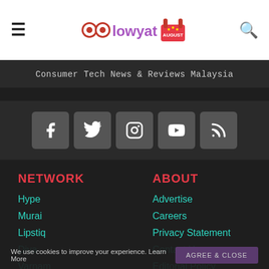lowyat.net — Consumer Tech News & Reviews Malaysia
[Figure (screenshot): lowyat.net logo with cartoon eyes icon and purple/red text, with a festive August badge]
Consumer Tech News & Reviews Malaysia
[Figure (infographic): Social media icon buttons: Facebook, Twitter, Instagram, YouTube, RSS — grey rounded square buttons with white icons]
NETWORK
Hype
Murai
Lipstiq
Diva
Varnam
Moviedash
Autofreaks
ABOUT
Advertise
Careers
Privacy Statement
Contact Us
Editorial Policy
Terms & Conditions
We use cookies to improve your experience. Learn More